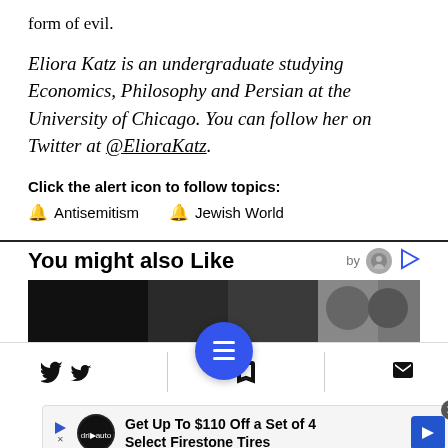form of evil.
Eliora Katz is an undergraduate studying Economics, Philosophy and Persian at the University of Chicago. You can follow her on Twitter at @ElioraKatz.
Click the alert icon to follow topics:
Antisemitism
Jewish World
You might also Like
[Figure (photo): Dark photo strip showing people]
[Figure (screenshot): Bottom navigation bar with Twitter, Facebook, bookmark, email icons and a blue hamburger menu FAB]
Get Up To $110 Off a Set of 4 Select Firestone Tires